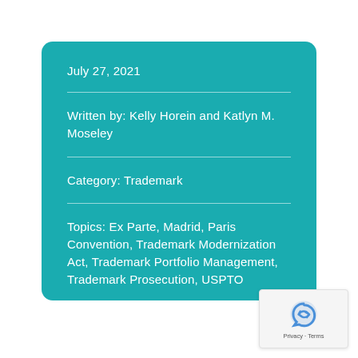July 27, 2021
Written by: Kelly Horein and Katlyn M. Moseley
Category: Trademark
Topics: Ex Parte, Madrid, Paris Convention, Trademark Modernization Act, Trademark Portfolio Management, Trademark Prosecution, USPTO
[Figure (logo): reCAPTCHA logo with Privacy and Terms links]